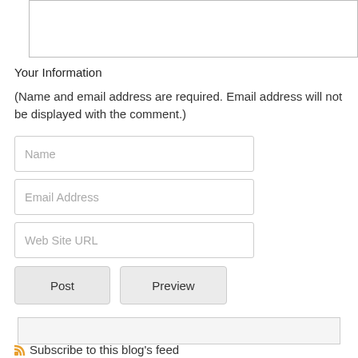[Figure (screenshot): A textarea input box (comment text area) at the top of the page, mostly empty with a resize handle.]
Your Information
(Name and email address are required. Email address will not be displayed with the comment.)
[Figure (screenshot): Text input field with placeholder text 'Name']
[Figure (screenshot): Text input field with placeholder text 'Email Address']
[Figure (screenshot): Text input field with placeholder text 'Web Site URL']
[Figure (screenshot): Two buttons: 'Post' and 'Preview']
[Figure (screenshot): A smaller textarea box below the buttons]
Subscribe to this blog's feed